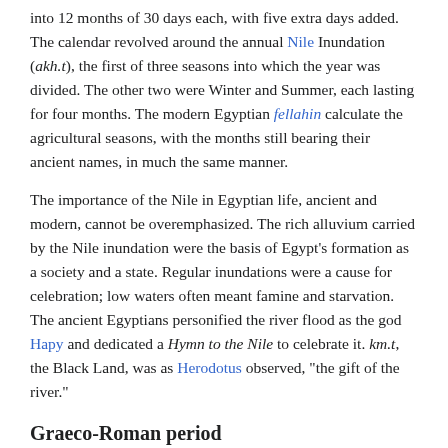into 12 months of 30 days each, with five extra days added. The calendar revolved around the annual Nile Inundation (akh.t), the first of three seasons into which the year was divided. The other two were Winter and Summer, each lasting for four months. The modern Egyptian fellahin calculate the agricultural seasons, with the months still bearing their ancient names, in much the same manner.
The importance of the Nile in Egyptian life, ancient and modern, cannot be overemphasized. The rich alluvium carried by the Nile inundation were the basis of Egypt's formation as a society and a state. Regular inundations were a cause for celebration; low waters often meant famine and starvation. The ancient Egyptians personified the river flood as the god Hapy and dedicated a Hymn to the Nile to celebrate it. km.t, the Black Land, was as Herodotus observed, "the gift of the river."
Graeco-Roman period
Main articles: Ptolemaic Kingdom and Egypt (Roman province)
When Alexander died, a story began to circulate that Nectanebo
[Figure (photo): Ancient coin or medallion, showing a face/portrait in relief, with aged bronze/gold coloring]